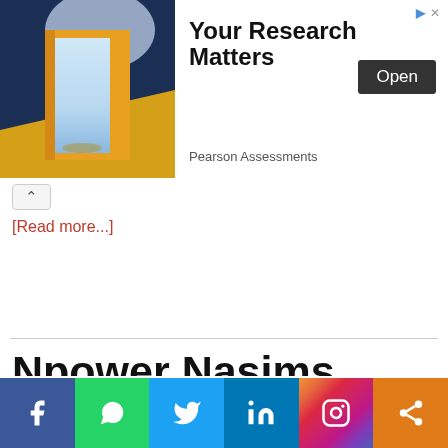[Figure (infographic): Advertisement banner for Pearson Assessments 'Your Research Matters' with a door image and an Open button]
[Read more...]
Npower Nasims Activate Batch C1 November Payment: See How to be Paid Faster
[Figure (infographic): Social media sharing bar with Facebook, WhatsApp, Twitter, LinkedIn, Instagram, and share buttons]